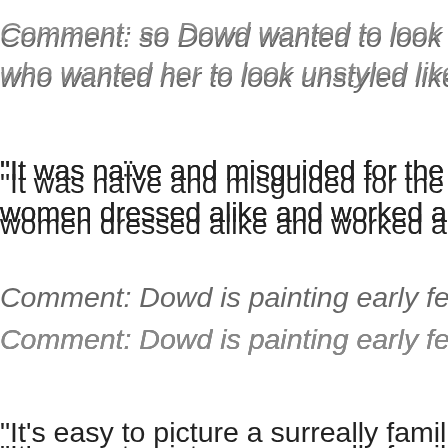Comment: so Dowd wanted to look “stylish” so badly that she resisted those who wanted her to look unstyled like early feminists. So w...
"It was naïve and misguided for the early feminists to tend... women dressed alike and worked alike in navy suits..."
Comment: Dowd is painting early feminists as complete fr...
"It's easy to picture a surreally familiar scene when women... With no power or money or independence, they'll be mere... their floors - or vice versa - and desperately seeking a new...
Comment: the problem here is that Dowd believes that fe... will on the part of feminists. This is wrong. The infrastructu... and 70's – easy birth control, cost-of-living increases requ... Those conditions probably won't go away any time soon. T... pioneers and brave and smart. But the idea of equal rights... wasn't lack of IDEAS that prevented feminist gains until th... Dowd is in her 50s, and in spite of the thin veneer of progr...